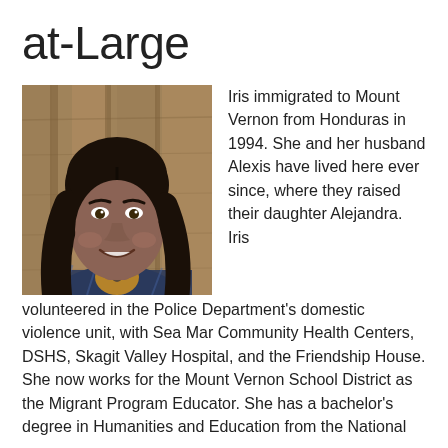at-Large
[Figure (photo): Portrait photo of a woman with long dark hair, smiling, wearing a plaid shirt and necklace, standing in front of a wooden background.]
Iris immigrated to Mount Vernon from Honduras in 1994. She and her husband Alexis have lived here ever since, where they raised their daughter Alejandra. Iris volunteered in the Police Department's domestic violence unit, with Sea Mar Community Health Centers, DSHS, Skagit Valley Hospital, and the Friendship House. She now works for the Mount Vernon School District as the Migrant Program Educator. She has a bachelor's degree in Humanities and Education from the National